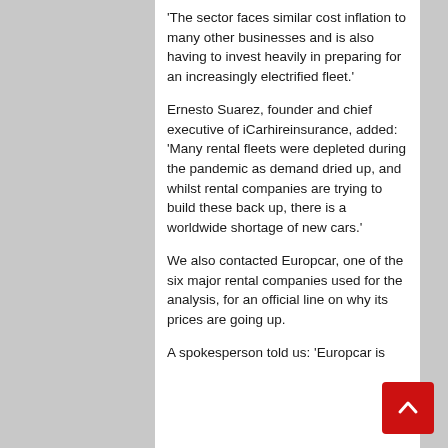'The sector faces similar cost inflation to many other businesses and is also having to invest heavily in preparing for an increasingly electrified fleet.'
Ernesto Suarez, founder and chief executive of iCarhireinsurance, added: 'Many rental fleets were depleted during the pandemic as demand dried up, and whilst rental companies are trying to build these back up, there is a worldwide shortage of new cars.'
We also contacted Europcar, one of the six major rental companies used for the analysis, for an official line on why its prices are going up.
A spokesperson told us: 'Europcar is